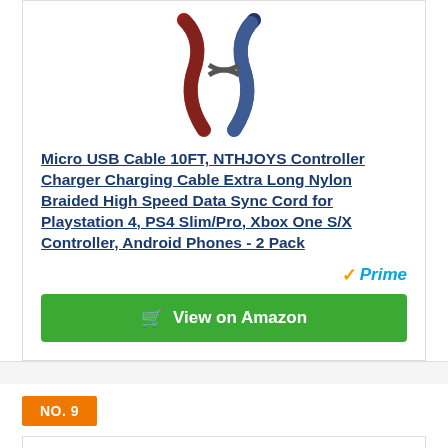[Figure (photo): Product photo of braided Micro USB cables, two cables shown twisted/crossed, one red/black and one blue/black nylon braided]
Micro USB Cable 10FT, NTHJOYS Controller Charger Charging Cable Extra Long Nylon Braided High Speed Data Sync Cord for Playstation 4, PS4 Slim/Pro, Xbox One S/X Controller, Android Phones - 2 Pack
[Figure (logo): Amazon Prime badge with orange checkmark and blue italic Prime text]
View on Amazon
NO. 9
[Figure (photo): Product photo of a mobile game controller/gamepad holding a smartphone displaying a shooting game]